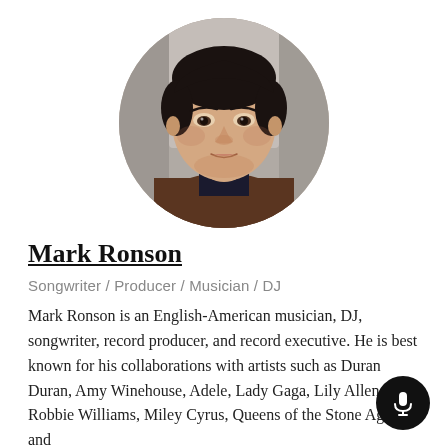[Figure (photo): Circular cropped portrait photo of Mark Ronson, a man with dark hair wearing a brown jacket over a dark shirt, photographed against a gray background.]
Mark Ronson
Songwriter / Producer / Musician / DJ
Mark Ronson is an English-American musician, DJ, songwriter, record producer, and record executive. He is best known for his collaborations with artists such as Duran Duran, Amy Winehouse, Adele, Lady Gaga, Lily Allen, Robbie Williams, Miley Cyrus, Queens of the Stone Age, and